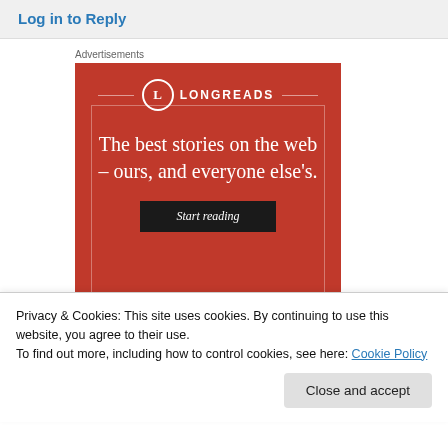Log in to Reply
Advertisements
[Figure (illustration): Longreads advertisement banner on red background with logo, tagline 'The best stories on the web – ours, and everyone else's.' and a 'Start reading' button.]
Privacy & Cookies: This site uses cookies. By continuing to use this website, you agree to their use.
To find out more, including how to control cookies, see here: Cookie Policy
Close and accept